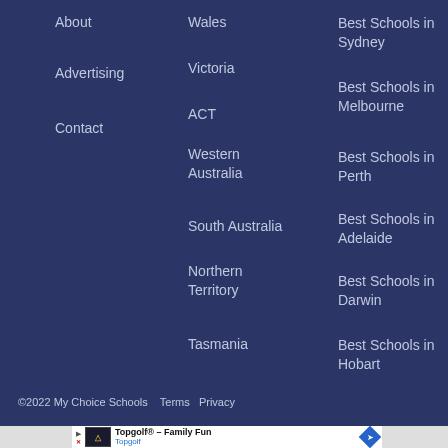About
Advertising
Contact
Wales
Victoria
ACT
Western Australia
South Australia
Northern Territory
Tasmania
Best Schools in Sydney
Best Schools in Melbourne
Best Schools in Perth
Best Schools in Adelaide
Best Schools in Darwin
Best Schools in Hobart
©2022 My Choice Schools   Terms   Privacy
[Figure (advertisement): Topgolf advertisement banner with logo, title 'Topgolf® - Family Fun', subtitle 'Topgolf', play button icon and navigation arrow icon]